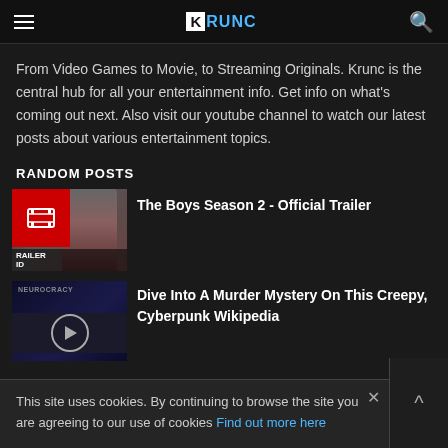KRUNC
From Video Games to Movie, to Streaming Originals. Krunc is the central hub for all your entertainment info. Get info on what's coming out next. Also visit our youtube channel to watch our latest posts about various entertainment topics.
RANDOM POSTS
[Figure (screenshot): Thumbnail for The Boys Season 2 trailer video with red film badge icon overlay]
The Boys Season 2 - Official Trailer
[Figure (screenshot): Thumbnail for Neurocracy article with purple orb on dark blue background]
Dive Into A Murder Mystery On This Creepy, Cyberpunk Wikipedia
This site uses cookies. By continuing to browse the site you are agreeing to our use of cookies Find out more here